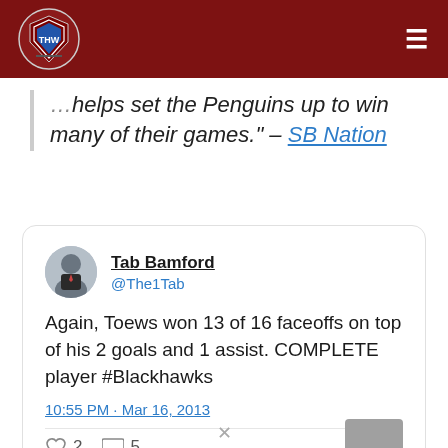THW (The Hockey Writers)
helps set the Penguins up to win many of their games." – SB Nation
[Figure (screenshot): Tweet by Tab Bamford (@The1Tab): Again, Toews won 13 of 16 faceoffs on top of his 2 goals and 1 assist. COMPLETE player #Blackhawks. 10:55 PM · Mar 16, 2013. 2 likes, 5 replies.]